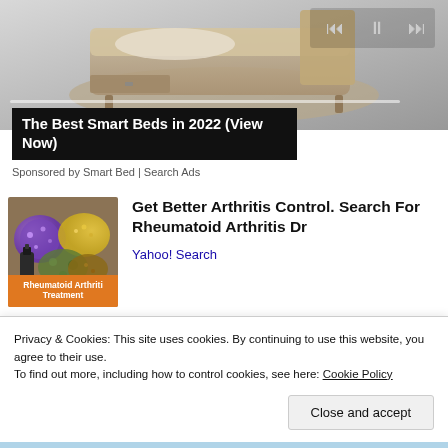[Figure (photo): Top portion of a smart bed advertisement banner showing a bed product image with media player controls (previous, pause, next) and a horizontal slider bar]
The Best Smart Beds in 2022 (View Now)
Sponsored by Smart Bed | Search Ads
[Figure (photo): Advertisement image for Rheumatoid Arthritis Treatment showing herbs, spices, and natural remedies with an orange banner overlay reading 'Rheumatoid Arthritis Treatment']
Get Better Arthritis Control. Search For Rheumatoid Arthritis Dr
Yahoo! Search
Privacy & Cookies: This site uses cookies. By continuing to use this website, you agree to their use.
To find out more, including how to control cookies, see here: Cookie Policy
Close and accept